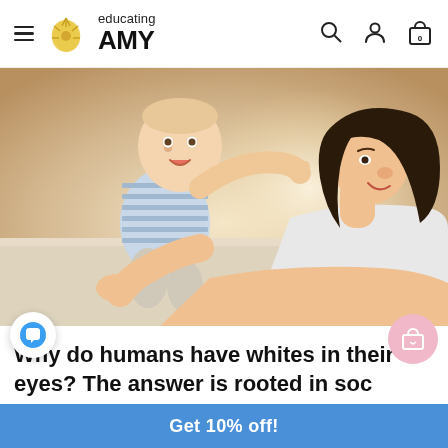educating AMY — navigation bar with hamburger menu, logo, search, profile, and cart icons
[Figure (photo): A smiling baby in a blue striped outfit sitting on a carpet, reaching toward the nose of a young woman with dark hair who is lying on her stomach smiling at the baby. Warm, bright lighting.]
Why do humans have whites in their eyes? The answer is rooted in soc
Get 10% off!